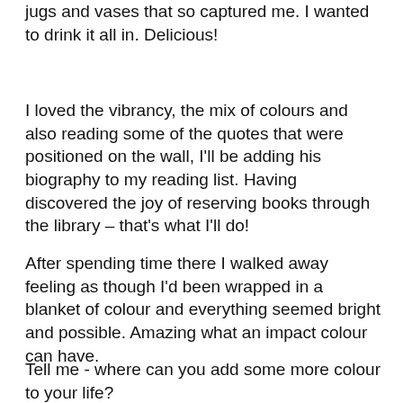jugs and vases that so captured me. I wanted to drink it all in. Delicious!
I loved the vibrancy, the mix of colours and also reading some of the quotes that were positioned on the wall, I'll be adding his biography to my reading list. Having discovered the joy of reserving books through the library – that's what I'll do!
After spending time there I walked away feeling as though I'd been wrapped in a blanket of colour and everything seemed bright and possible. Amazing what an impact colour can have.
Tell me - where can you add some more colour to your life?
[Figure (photo): Three-panel collage: left panel shows red textile/knitted artwork with teal grid pattern, middle panel shows a pink quote card on yellow background, right panel shows a decorative lamp post wrapped in colourful bands amid yellow flowers.]